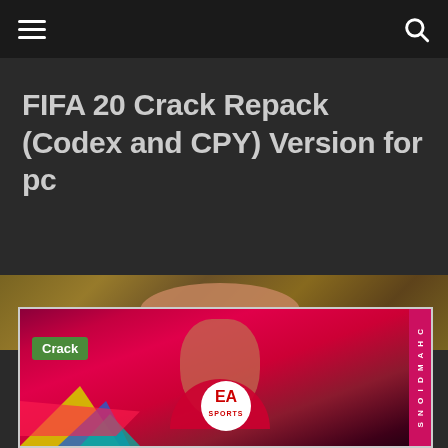≡  🔍
FIFA 20 Crack Repack (Codex and CPY) Version for pc
[Figure (photo): FIFA 20 game cover image showing a football player in red jersey with EA Sports logo and colorful paint splashes. A green 'Crack' tag label is shown in the upper left corner of the image.]